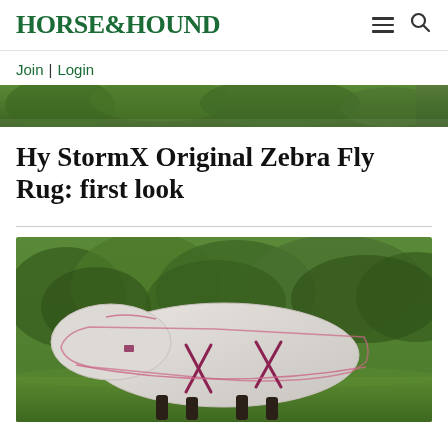HORSE&HOUND
Join | Login
[Figure (photo): Partial view of outdoor greenery/hedge background, top of an article image]
Hy StormX Original Zebra Fly Rug: first look
[Figure (photo): A horse wearing a light grey/silver fly rug with pink trim and burgundy/pink cross-surcingles, standing in a green grassy field with dense hedge/tree background]